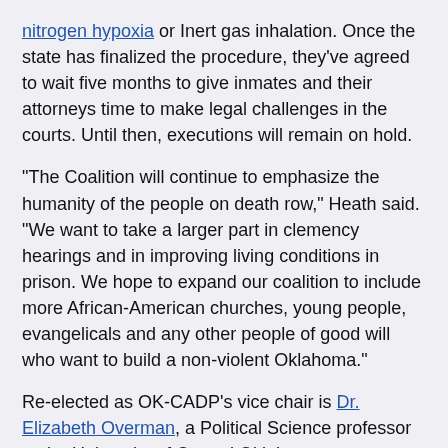nitrogen hypoxia or Inert gas inhalation. Once the state has finalized the procedure, they've agreed to wait five months to give inmates and their attorneys time to make legal challenges in the courts. Until then, executions will remain on hold.
“The Coalition will continue to emphasize the humanity of the people on death row,” Heath said. “We want to take a larger part in clemency hearings and in improving living conditions in prison. We hope to expand our coalition to include more African-American churches, young people, evangelicals and any other people of good will who want to build a non-violent Oklahoma.”
Re-elected as OK-CADP’s vice chair is Dr. Elizabeth Overman, a Political Science professor at the University of Central Oklahoma.
Overman teaches public policy, nonprofit management and program evaluation, and minority policy and politics, among other courses, in the Master of Public Administration program at UCO.